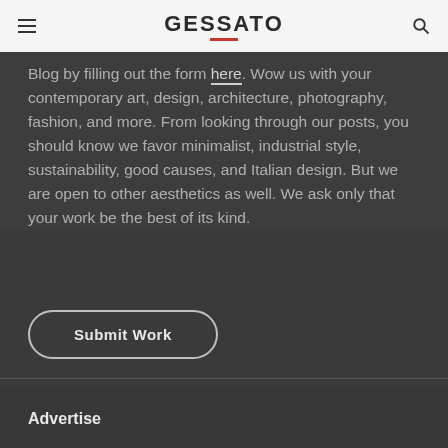GESSATO
Blog by filling out the form here. Wow us with your contemporary art, design, architecture, photography, fashion, and more. From looking through our posts, you should know we favor minimalist, industrial style, sustainability, good causes, and Italian design. But we are open to other aesthetics as well. We ask only that your work be the best of its kind.
Submit Work
Advertise